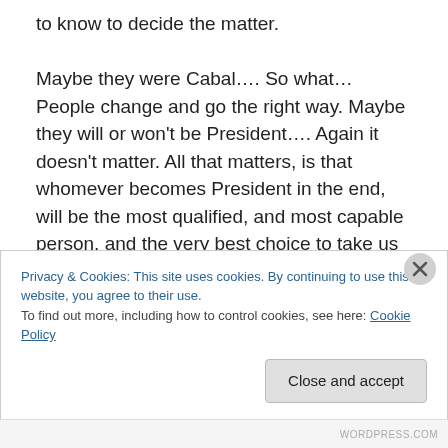to know to decide the matter.

Maybe they were Cabal…. So what… People change and go the right way. Maybe they will or won't be President…. Again it doesn't matter. All that matters, is that whomever becomes President in the end, will be the most qualified, and most capable person, and the very best choice to take us through this World Change. THAT IS A GIVEN. Frankly, I can guarantee you, that if you knew everything about this that you would need to know, you would make the same choice for the same reasons. Suffice to say, that the best
Privacy & Cookies: This site uses cookies. By continuing to use this website, you agree to their use.
To find out more, including how to control cookies, see here: Cookie Policy
WORDPRESS.COM